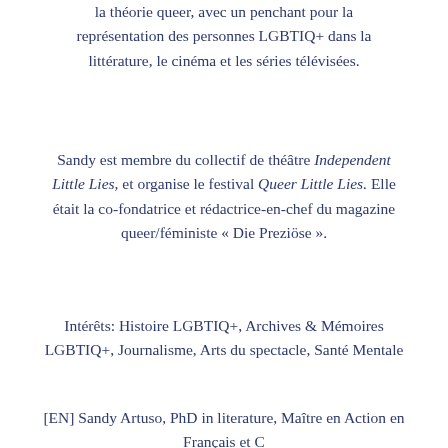la théorie queer, avec un penchant pour la représentation des personnes LGBTIQ+ dans la littérature, le cinéma et les séries télévisées.
Sandy est membre du collectif de théâtre Independent Little Lies, et organise le festival Queer Little Lies. Elle était la co-fondatrice et rédactrice-en-chef du magazine queer/féministe « Die Preziöse ».
Intérêts: Histoire LGBTIQ+, Archives & Mémoires LGBTIQ+, Journalisme, Arts du spectacle, Santé Mentale
[EN] Sandy Artuso, PhD in literature, Maître en Action en Français et C...